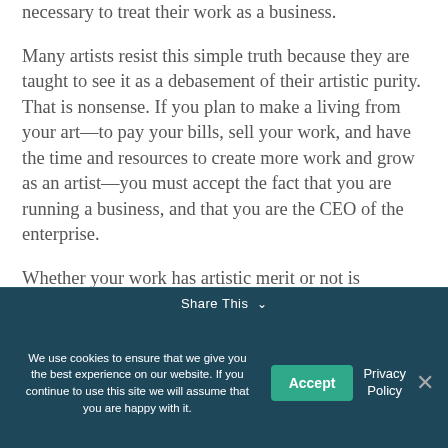necessary to treat their work as a business.
Many artists resist this simple truth because they are taught to see it as a debasement of their artistic purity. That is nonsense. If you plan to make a living from your art—to pay your bills, sell your work, and have the time and resources to create more work and grow as an artist—you must accept the fact that you are running a business, and that you are the CEO of the enterprise.
Whether your work has artistic merit or not is
We use cookies to ensure that we give you the best experience on our website. If you continue to use this site we will assume that you are happy with it.
Share This